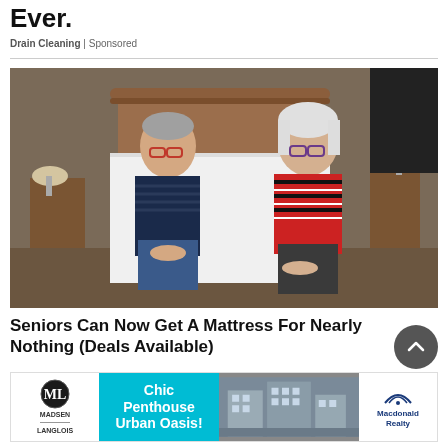Ever.
Drain Cleaning | Sponsored
[Figure (photo): Two elderly people sitting on opposite sides of a white mattress on a bed with a wooden headboard, in a bedroom setting]
Seniors Can Now Get A Mattress For Nearly Nothing (Deals Available)
[Figure (infographic): Advertisement banner: Madsen Langlois logo on left, cyan center panel reading 'Chic Penthouse Urban Oasis!', photo of urban building in middle, Macdonald Realty logo on right]